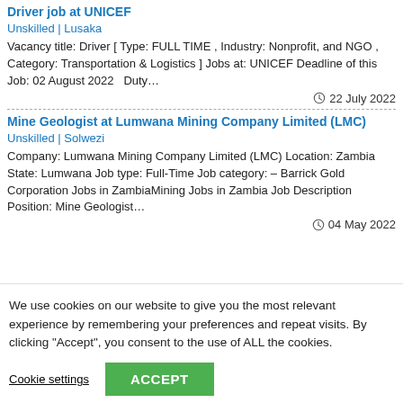Driver job at UNICEF
Unskilled | Lusaka
Vacancy title: Driver [ Type: FULL TIME , Industry: Nonprofit, and NGO , Category: Transportation & Logistics ] Jobs at: UNICEF Deadline of this Job: 02 August 2022   Duty…
22 July 2022
Mine Geologist at Lumwana Mining Company Limited (LMC)
Unskilled | Solwezi
Company: Lumwana Mining Company Limited (LMC) Location: Zambia State: Lumwana Job type: Full-Time Job category: – Barrick Gold Corporation Jobs in ZambiaMining Jobs in Zambia Job Description Position: Mine Geologist…
04 May 2022
We use cookies on our website to give you the most relevant experience by remembering your preferences and repeat visits. By clicking "Accept", you consent to the use of ALL the cookies.
Cookie settings
ACCEPT